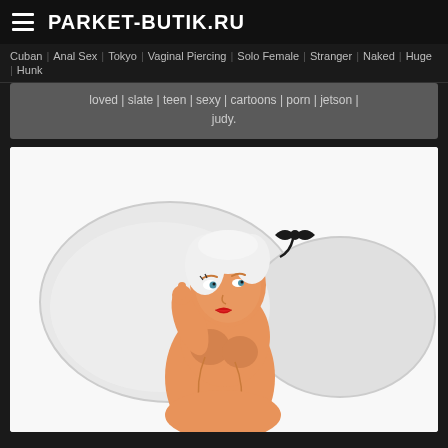PARKET-BUTIK.RU
Cuban  Anal Sex  Tokyo  Vaginal Piercing  Solo Female  Stranger  Naked  Huge  Hunk
loved | slate | teen | sexy | cartoons | porn | jetson | judy.
[Figure (illustration): Cartoon illustration of a nude animated female character with short blonde hair and a black bow, lying on white pillows, looking sideways with red lips and blue eyes, orange skin tone.]